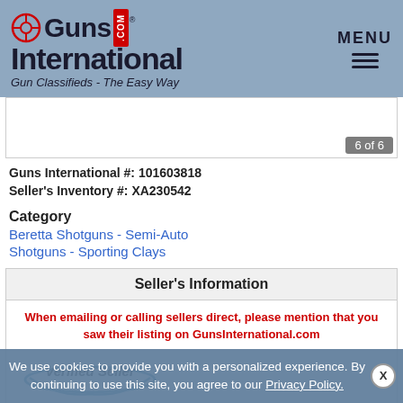Guns International - Gun Classifieds - The Easy Way
[Figure (other): Photo image strip showing gun listing photos, page 6 of 6]
Guns International #: 101603818
Seller's Inventory #: XA230542
Category
Beretta Shotguns - Semi-Auto
Shotguns - Sporting Clays
Seller's Information
When emailing or calling sellers direct, please mention that you saw their listing on GunsInternational.com
[Figure (logo): Verified Seller badge with swoosh design]
Seller: Coleguninc
Company: Cole Fine Guns
Member Since: 6/18/15
First Name: Richard
We use cookies to provide you with a personalized experience. By continuing to use this site, you agree to our Privacy Policy.